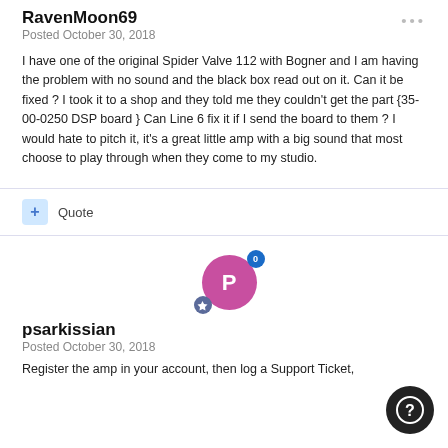RavenMoon69
Posted October 30, 2018
I have one of the original Spider Valve 112 with Bogner and I am having the problem with no sound and the black box read out on it. Can it be fixed ? I took it to a shop and they told me they couldn't get the part {35-00-0250 DSP board } Can Line 6 fix it if I send the board to them ? I would hate to pitch it, it's a great little amp with a big sound that most choose to play through when they come to my studio.
+ Quote
[Figure (illustration): User avatar for psarkissian — pink circle with P, with a blue badge showing 0 at top right and a dark purple badge at bottom left]
psarkissian
Posted October 30, 2018
Register the amp in your account, then log a Support Ticket,
[Figure (illustration): Dark circular help button with a white question mark circle icon]